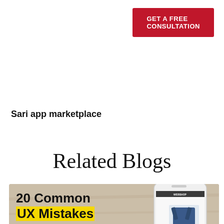[Figure (other): Red button with white text reading GET A FREE CONSULTATION]
Sari app marketplace
Related Blogs
[Figure (illustration): Blog card thumbnail showing '20 Common UX Mistakes' text over a wood-texture background with a smartphone displaying a webshop]